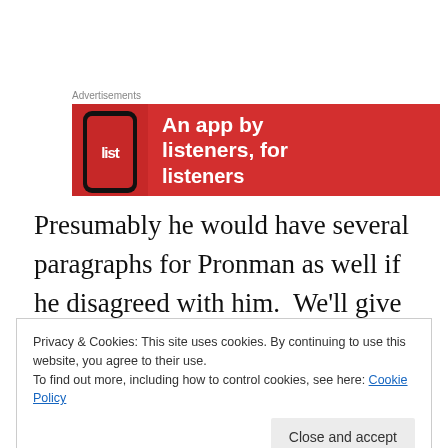Advertisements
[Figure (other): Advertisement banner: red background with a smartphone showing a music app and text 'An app by listeners, for listeners']
Presumably he would have several paragraphs for Pronman as well if he disagreed with him.  We'll give Nichols a pass for letting Wagman's unjustified Harpur comment go through (more on him
Privacy & Cookies: This site uses cookies. By continuing to use this website, you agree to their use.
To find out more, including how to control cookies, see here: Cookie Policy
Close and accept